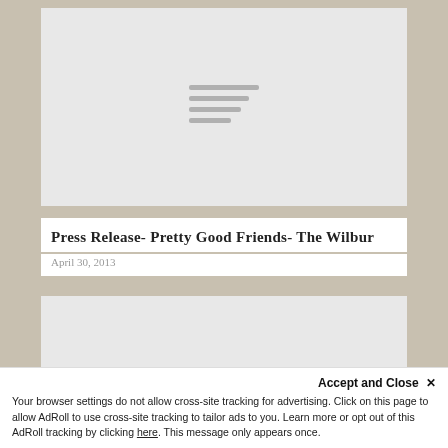[Figure (other): Gray placeholder image block at the top of the page with a hamburger/loading icon (four horizontal gray lines of decreasing width) centered in the middle]
Press Release- Pretty Good Friends- The Wilbur
April 30, 2013
[Figure (other): Gray placeholder image block at the bottom, partially visible]
Accept and Close ×
Your browser settings do not allow cross-site tracking for advertising. Click on this page to allow AdRoll to use cross-site tracking to tailor ads to you. Learn more or opt out of this AdRoll tracking by clicking here. This message only appears once.